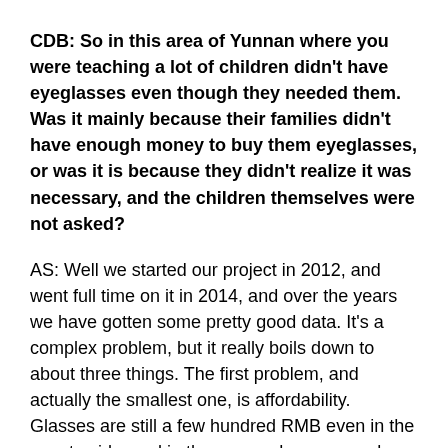CDB: So in this area of Yunnan where you were teaching a lot of children didn't have eyeglasses even though they needed them. Was it mainly because their families didn't have enough money to buy them eyeglasses, or was it is because they didn't realize it was necessary, and the children themselves were not asked?
AS: Well we started our project in 2012, and went full time on it in 2014, and over the years we have gotten some pretty good data. It's a complex problem, but it really boils down to about three things. The first problem, and actually the smallest one, is affordability. Glasses are still a few hundred RMB even in the countryside, and in the areas where we work, where families suffer from poverty, extreme poverty, a few hundred RMB represents a lot of money. And so obviously, not everybody's going to go out and buy the